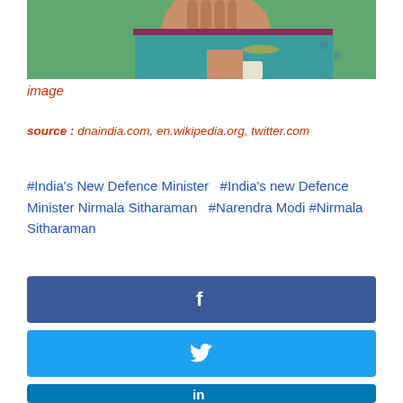[Figure (photo): Photo of a woman in a teal/green saree with maroon border, hand raised to chin, against a green background. Partial view showing face, hand, and saree.]
image
source : dnaindia.com, en.wikipedia.org, twitter.com
#India's New Defence Minister   #India's new Defence Minister Nirmala Sitharaman   #Narendra Modi   #Nirmala Sitharaman
[Figure (other): Facebook share button (dark blue with f icon)]
[Figure (other): Twitter share button (light blue with bird icon)]
[Figure (other): LinkedIn share button (blue with in icon)]